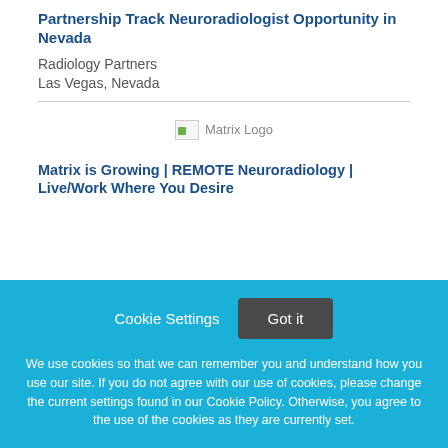Partnership Track Neuroradiologist Opportunity in Nevada
Radiology Partners
Las Vegas, Nevada
[Figure (logo): Matrix Logo placeholder image]
Matrix is Growing | REMOTE Neuroradiology | Live/Work Where You Desire
Cookie Settings
Got it
We use cookies so that we can remember you and understand how you use our site. If you do not agree with our use of cookies, please change the current settings found in our Cookie Policy. Otherwise, you agree to the use of the cookies as they are currently set.